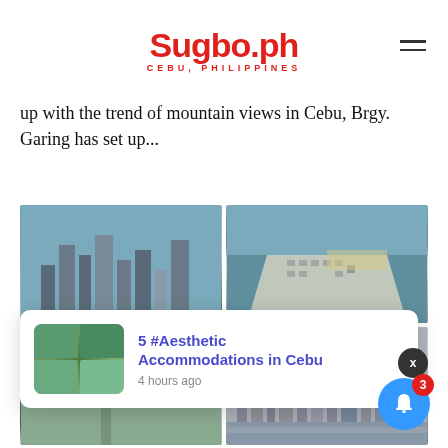Sugbo.ph — CEBU, PHILIPPINES
up with the trend of mountain views in Cebu, Brgy. Garing has set up...
[Figure (photo): Grid of city aerial/3D render images showing Cebu cityscape from above, including 3D architectural renders and aerial photographs of urban waterfront areas.]
[Figure (screenshot): Notification popup showing '5 #Aesthetic Accommodations in Cebu' with a small thumbnail of accommodation photos and timestamp '4 hours ago']